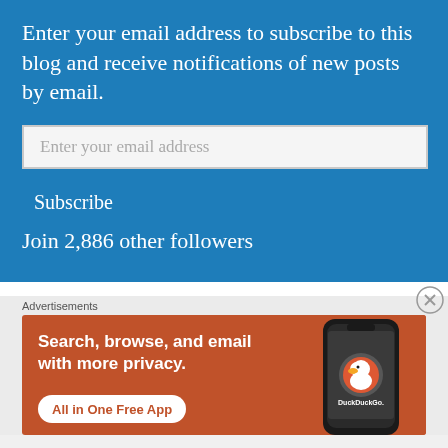Enter your email address to subscribe to this blog and receive notifications of new posts by email.
Enter your email address
Subscribe
Join 2,886 other followers
Advertisements
[Figure (screenshot): DuckDuckGo advertisement banner showing 'Search, browse, and email with more privacy. All in One Free App' with DuckDuckGo logo and phone image on orange background]